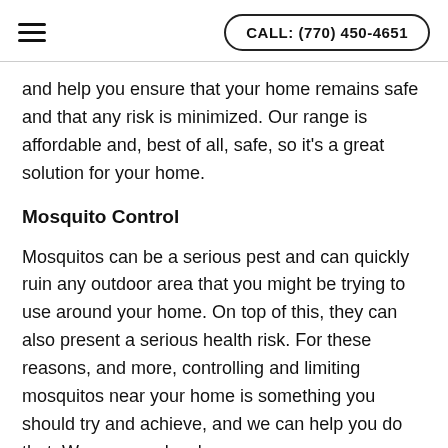CALL: (770) 450-4651
and help you ensure that your home remains safe and that any risk is minimized. Our range is affordable and, best of all, safe, so it’s a great solution for your home.
Mosquito Control
Mosquitos can be a serious pest and can quickly ruin any outdoor area that you might be trying to use around your home. On top of this, they can also present a serious health risk. For these reasons, and more, controlling and limiting mosquitos near your home is something you should try and achieve, and we can help you do that. We are your local